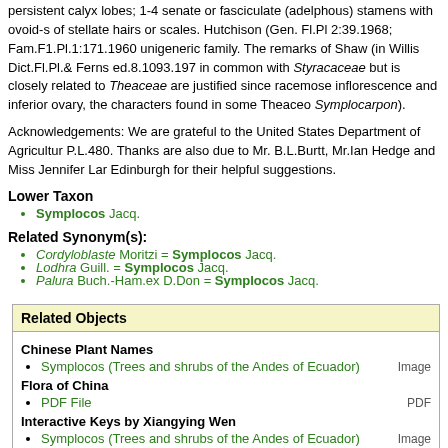persistent calyx lobes; 1-4 senate or fasciculate (adelphous) stamens with ovoid-s of stellate hairs or scales. Hutchison (Gen. Fl.Pl 2:39.1968; Fam.F1.Pl.1:171.1960 unigeneric family. The remarks of Shaw (in Willis Dict.Fl.Pl.& Ferns ed.8.1093.197 in common with Styracaceae but is closely related to Theaceae are justified since racemose inflorescence and inferior ovary, the characters found in some Theaceo Symplocarpon).
Acknowledgements: We are grateful to the United States Department of Agricultur P.L.480. Thanks are also due to Mr. B.L.Burtt, Mr.Ian Hedge and Miss Jennifer Lar Edinburgh for their helpful suggestions.
Lower Taxon
Symplocos Jacq.
Related Synonym(s):
Cordyloblaste Moritzi = Symplocos Jacq.
Lodhra Guill. = Symplocos Jacq.
Palura Buch.-Ham.ex D.Don = Symplocos Jacq.
| Related Objects |  |
| --- | --- |
| Chinese Plant Names |  |
| Symplocos (Trees and shrubs of the Andes of Ecuador) | Image |
| Flora of China |  |
| PDF File | PDF |
| Interactive Keys by Xiangying Wen |  |
| Symplocos (Trees and shrubs of the Andes of Ecuador) | Image |